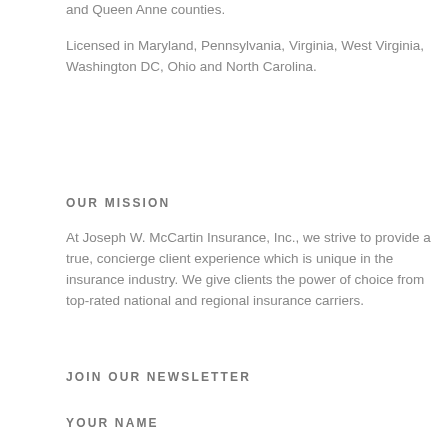and Queen Anne counties.
Licensed in Maryland, Pennsylvania, Virginia, West Virginia, Washington DC, Ohio and North Carolina.
OUR MISSION
At Joseph W. McCartin Insurance, Inc., we strive to provide a true, concierge client experience which is unique in the insurance industry. We give clients the power of choice from top-rated national and regional insurance carriers.
JOIN OUR NEWSLETTER
YOUR NAME